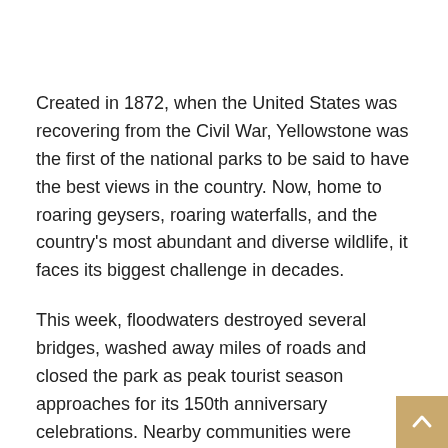Created in 1872, when the United States was recovering from the Civil War, Yellowstone was the first of the national parks to be said to have the best views in the country. Now, home to roaring geysers, roaring waterfalls, and the country's most abundant and diverse wildlife, it faces its biggest challenge in decades.
This week, floodwaters destroyed several bridges, washed away miles of roads and closed the park as peak tourist season approaches for its 150th anniversary celebrations. Nearby communities were submerged and hundreds of homes were inundated by the rising Yellowstone River and its tributaries.